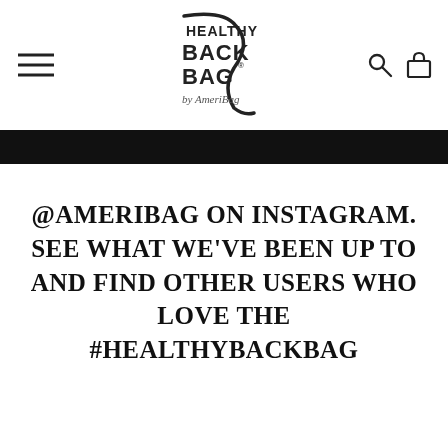[Figure (logo): Healthy Back Bag by AmeriBag logo with stylized bag outline]
@AMERIBAG ON INSTAGRAM. SEE WHAT WE'VE BEEN UP TO AND FIND OTHER USERS WHO LOVE THE #HEALTHYBACKBAG